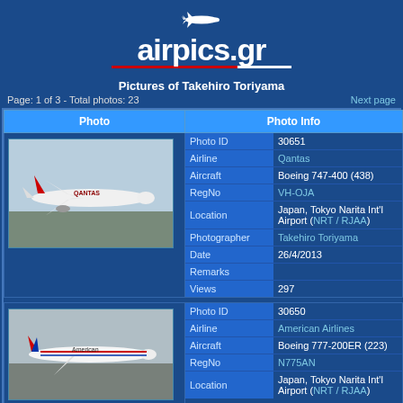[Figure (logo): airpics.gr website logo with airplane silhouette above the text and a red/white underline bar]
Pictures of Takehiro Toriyama
Page: 1 of 3 - Total photos: 23
Next page
| Photo | Photo Info |
| --- | --- |
| [Qantas Boeing 747-400 photo] | Photo ID: 30651 | Airline: Qantas | Aircraft: Boeing 747-400 (438) | RegNo: VH-OJA | Location: Japan, Tokyo Narita Int'l Airport (NRT / RJAA) | Photographer: Takehiro Toriyama | Date: 26/4/2013 | Remarks: | Views: 297 |
| [American Airlines Boeing 777-200ER photo] | Photo ID: 30650 | Airline: American Airlines | Aircraft: Boeing 777-200ER (223) | RegNo: N775AN | Location: Japan, Tokyo Narita Int'l Airport (NRT / RJAA) |